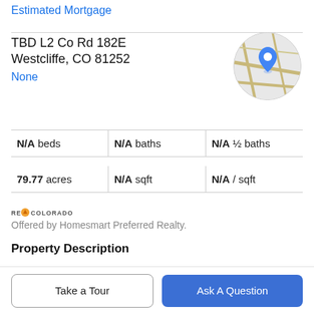Estimated Mortgage
TBD L2 Co Rd 182E
Westcliffe, CO 81252
None
[Figure (map): Circular map thumbnail showing a location pin on a road map of Westcliffe, CO area]
| N/A beds | N/A baths | N/A ½ baths |
| 79.77 acres | N/A sqft | N/A / sqft |
[Figure (logo): RE/Colorado logo with orange house icon]
Offered by Homesmart Preferred Realty.
Property Description
WEST SIDE 79+ ACRES WITH POND, WINDMILL, VIEWS!! 2 LOTS - Spectacular "WEST SIDE" acres now